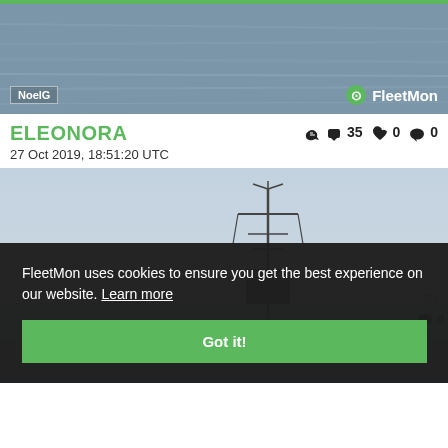[Figure (photo): Top photo showing water/sea surface with grey tones, with 'NoelG' label bottom-left and FleetMon logo bottom-right]
ELEONORA
👍 35  ❤️ 0  💬 0
27 Oct 2019, 18:51:20 UTC
[Figure (photo): Photo of a ship with mast/superstructure visible against a light blue sky, with sea at bottom]
FleetMon uses cookies to ensure you get the best experience on our website. Learn more
Got it!